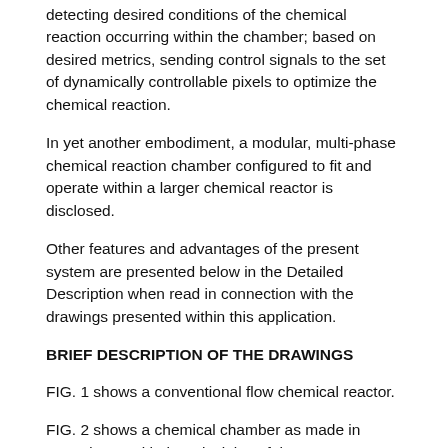detecting desired conditions of the chemical reaction occurring within the chamber; based on desired metrics, sending control signals to the set of dynamically controllable pixels to optimize the chemical reaction.
In yet another embodiment, a modular, multi-phase chemical reaction chamber configured to fit and operate within a larger chemical reactor is disclosed.
Other features and advantages of the present system are presented below in the Detailed Description when read in connection with the drawings presented within this application.
BRIEF DESCRIPTION OF THE DRAWINGS
FIG. 1 shows a conventional flow chemical reactor.
FIG. 2 shows a chemical chamber as made in accordance with the principles of the present application.
FIGS. 3A and 3B show a side cut view of a set of controllable pixels of a suitable chemical chamber.
FIGS. 4A and 4B show a side cut view of a set of alternative embodiments of controllable pixels.